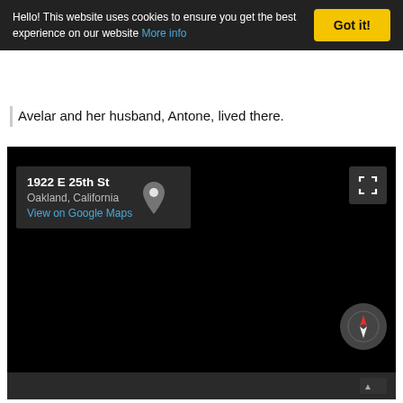Hello! This website uses cookies to ensure you get the best experience on our website More info | Got it!
Avelar and her husband, Antone, lived there.
[Figure (map): Google Maps embed showing the location of 1922 E 25th St, Oakland, California. The map background is mostly black (satellite/night mode) with a location info card in the upper left showing the address and a 'View on Google Maps' link. A compass control is visible in the lower right.]